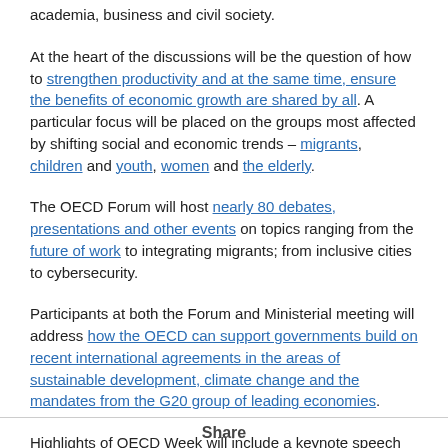academia, business and civil society.
At the heart of the discussions will be the question of how to strengthen productivity and at the same time, ensure the benefits of economic growth are shared by all. A particular focus will be placed on the groups most affected by shifting social and economic trends – migrants, children and youth, women and the elderly.
The OECD Forum will host nearly 80 debates, presentations and other events on topics ranging from the future of work to integrating migrants; from inclusive cities to cybersecurity.
Participants at both the Forum and Ministerial meeting will address how the OECD can support governments build on recent international agreements in the areas of sustainable development, climate change and the mandates from the G20 group of leading economies.
Highlights of OECD Week will include a keynote speech by Chile's President Michelle Bachelet, Chair of the Ministerial Meeting, on Wednesday 1 June. It will be followed by the launch of the OECD's twice-annual Economic Outlook. Later that day, Latin American leaders
Share